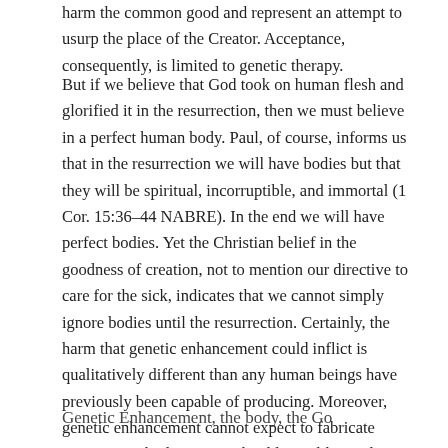harm the common good and represent an attempt to usurp the place of the Creator. Acceptance, consequently, is limited to genetic therapy.
But if we believe that God took on human flesh and glorified it in the resurrection, then we must believe in a perfect human body. Paul, of course, informs us that in the resurrection we will have bodies but that they will be spiritual, incorruptible, and immortal (1 Cor. 15:36–44 NABRE). In the end we will have perfect bodies. Yet the Christian belief in the goodness of creation, not to mention our directive to care for the sick, indicates that we cannot simply ignore bodies until the resurrection. Certainly, the harm that genetic enhancement could inflict is qualitatively different than any human beings have previously been capable of producing. Moreover, genetic enhancement cannot expect to fabricate resurrection bodies. Yet it should aim, like medicine always has, at the sort of embodied perfection promised in the resurrection—freedom from pain and death. Therefore, we cannot oppose enhancement without denying our orientation toward perfection.
Genetic Enhancement, the body, the Go...